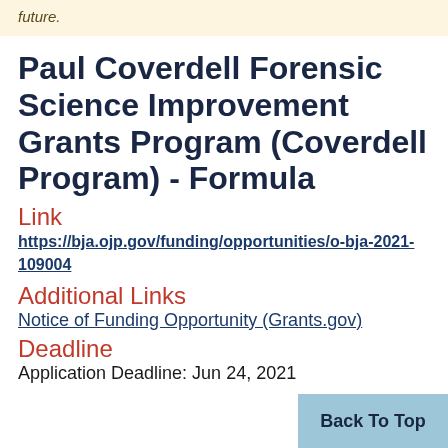future.
Paul Coverdell Forensic Science Improvement Grants Program (Coverdell Program) - Formula
Link
https://bja.ojp.gov/funding/opportunities/o-bja-2021-109004
Additional Links
Notice of Funding Opportunity (Grants.gov)
Deadline
Application Deadline: Jun 24, 2021